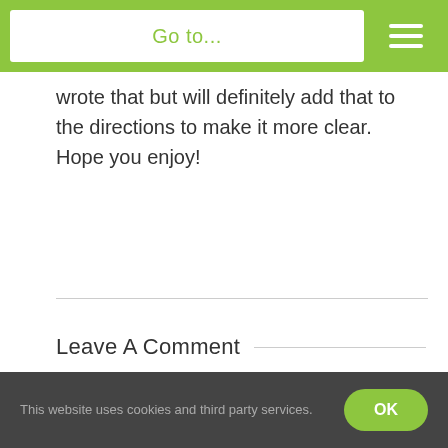Go to...
wrote that but will definitely add that to the directions to make it more clear. Hope you enjoy!
Leave A Comment
Comment...
This website uses cookies and third party services. OK